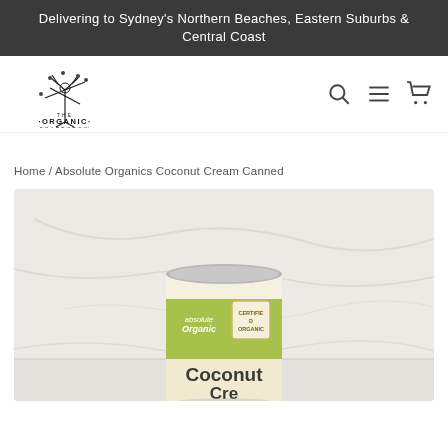Delivering to Sydney's Northern Beaches, Eastern Suburbs & Central Coast
[Figure (logo): The Organic Scarecrow logo with tree/scarecrow illustration and text 'THE ORGANIC SCARECROW']
Home / Absolute Organics Coconut Cream Canned
[Figure (photo): Product photo of Absolute Organics Coconut Cream canned product on a light marble/stone surface. The can has a green and cream label with 'absolute organic' branding and 'Coconut Cre...' visible text. A 'Certified Organic' badge is visible on the label.]